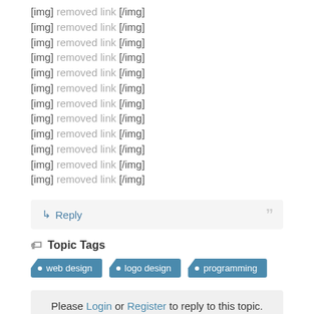[img] removed link [/img]
[img] removed link [/img]
[img] removed link [/img]
[img] removed link [/img]
[img] removed link [/img]
[img] removed link [/img]
[img] removed link [/img]
[img] removed link [/img]
[img] removed link [/img]
[img] removed link [/img]
[img] removed link [/img]
[img] removed link [/img]
↳ Reply  "
Topic Tags
web design  logo design  programming
Please Login or Register to reply to this topic.